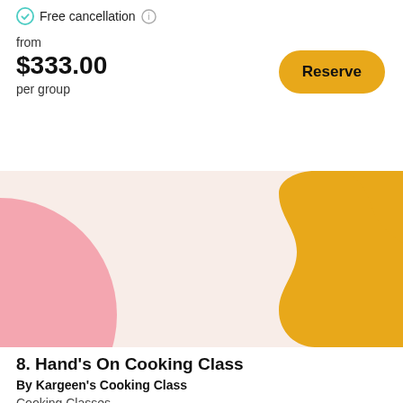Free cancellation
from
$333.00
per group
Reserve
[Figure (illustration): Decorative abstract illustration with a light pink/peach background, a pink semicircle on the left side, and a golden/amber organic wave shape on the right side.]
8. Hand's On Cooking Class
By Kargeen's Cooking Class
Cooking Classes
3 hours